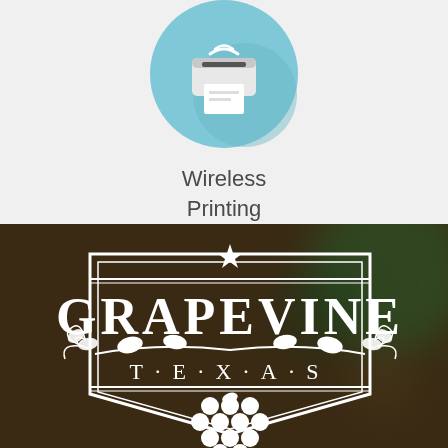[Figure (illustration): Flat-style icon of a wireless printer inside a light blue circle with a long shadow effect]
Wireless Printing
[Figure (logo): Grapevine Texas city logo in white on a dark brown/bokeh background — ornate shield with grapevine, grapes cluster, star, and the words GRAPEVINE and TEXAS]